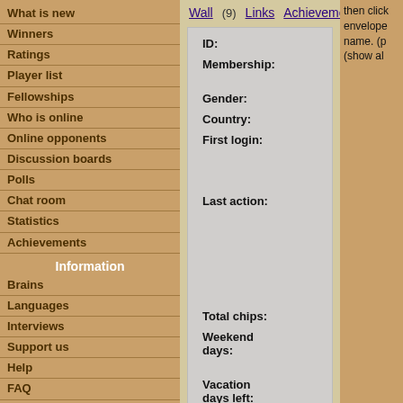What is new
Winners
Ratings
Player list
Fellowships
Who is online
Online opponents
Discussion boards
Polls
Chat room
Statistics
Achievements
Information
Brains
Languages
Interviews
Support us
Help
FAQ
Contact
Links
Logout
Wall (9)  Links  Achievements
| Field | Value |
| --- | --- |
| ID: | 18885 |
| Membership: | Brain Pawn |
| Gender: | Male |
| Country: | Russia |
| First login: | 29. August 2005, 11:45:50 |
| Last action: | 23. August 2022, 14:00:24 - browsing main page |
| Total chips: | 1000 |
| Weekend days: | Saturday and Sunday |
| Vacation days left: | 10 days - using the automatic vacation |
Add Volfson to your friends | Add Volfson to your blocked users
then click envelope name. (show all